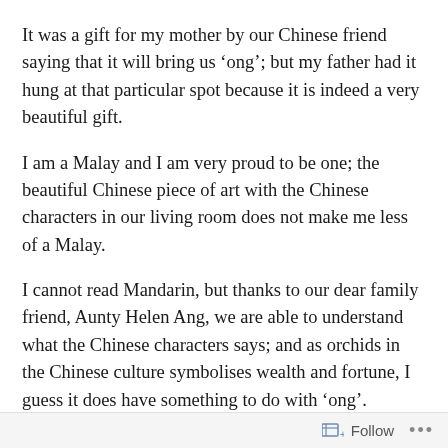It was a gift for my mother by our Chinese friend saying that it will bring us ‘ong’; but my father had it hung at that particular spot because it is indeed a very beautiful gift.
I am a Malay and I am very proud to be one; the beautiful Chinese piece of art with the Chinese characters in our living room does not make me less of a Malay.
I cannot read Mandarin, but thanks to our dear family friend, Aunty Helen Ang, we are able to understand what the Chinese characters says; and as orchids in the Chinese culture symbolises wealth and fortune, I guess it does have something to do with ‘ong’.
People often remarked that neither my parents, my
Follow  …